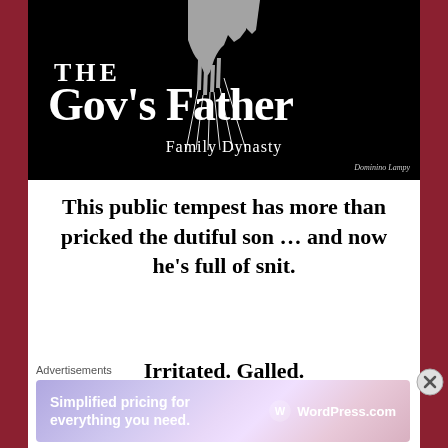[Figure (illustration): Book cover with black background showing puppet strings and hands at top, text 'THE Gov's Father Family Dynasty' in white on black]
This public tempest has more than pricked the dutiful son … and now he's full of snit.
Irritated. Galled.
Advertisements
[Figure (screenshot): WordPress.com advertisement banner: 'Simplified pricing for everything you need.' with WordPress.com logo]